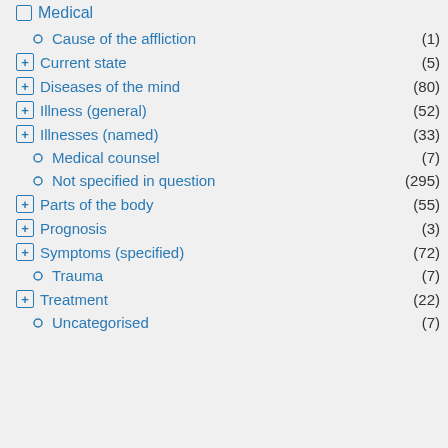Medical
Cause of the affliction (1)
Current state (5)
Diseases of the mind (80)
Illness (general) (52)
Illnesses (named) (33)
Medical counsel (7)
Not specified in question (295)
Parts of the body (55)
Prognosis (3)
Symptoms (specified) (72)
Trauma (7)
Treatment (22)
Uncategorised (7)